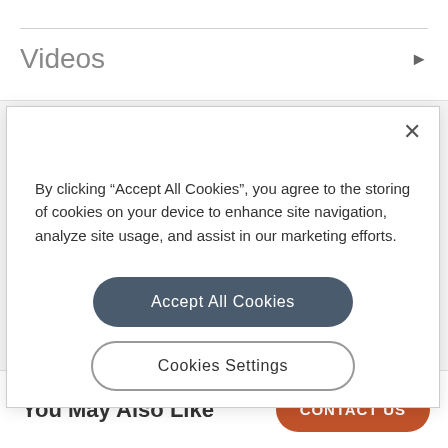Videos
By clicking “Accept All Cookies”, you agree to the storing of cookies on your device to enhance site navigation, analyze site usage, and assist in our marketing efforts.
Accept All Cookies
Cookies Settings
You May Also Like
CONTACT US